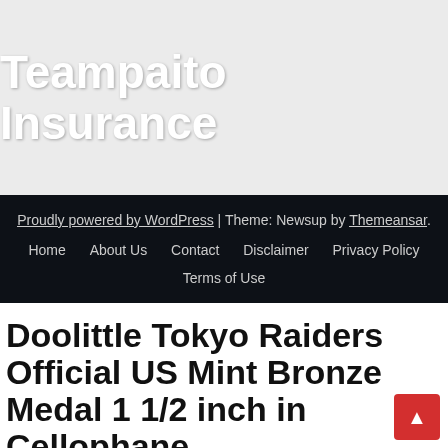Teampaito Insurance
Proudly powered by WordPress | Theme: Newsup by Themeansar.
Home  About Us  Contact  Disclaimer  Privacy Policy
Terms of Use
Doolittle Tokyo Raiders Official US Mint Bronze Medal 1 1/2 inch in Cellophane
Medals Coins & Paper Money Doolittle Tokyo Raiders Official US Mint Bronze Medal 1 1/2 inch in Cellophane. Find many